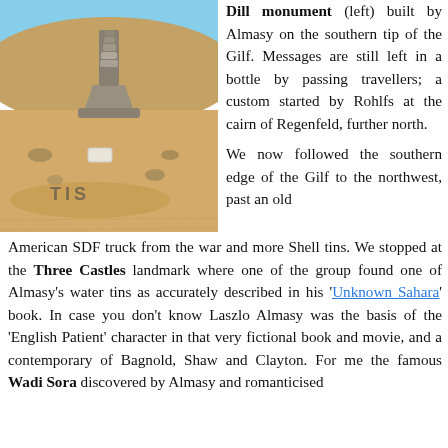[Figure (photo): A stone cairn monument in a desert sand landscape, with rocks arranged in a triangular/pyramidal stack and text spelled out in stones on the sand below, with a sandy hill in the background under blue sky.]
Dill monument (left) built by Almasy on the southern tip of the Gilf. Messages are still left in a bottle by passing travellers; a custom started by Rohlfs at the cairn of Regenfeld, further north.

We now followed the southern edge of the Gilf to the northwest, past an old American SDF truck from the war and more Shell tins. We stopped at the Three Castles landmark where one of the group found one of Almasy's water tins as accurately described in his 'Unknown Sahara' book. In case you don't know Laszlo Almasy was the basis of the 'English Patient' character in that very fictional book and movie, and a contemporary of Bagnold, Shaw and Clayton. For me the famous Wadi Sora discovered by Almasy and romanticised